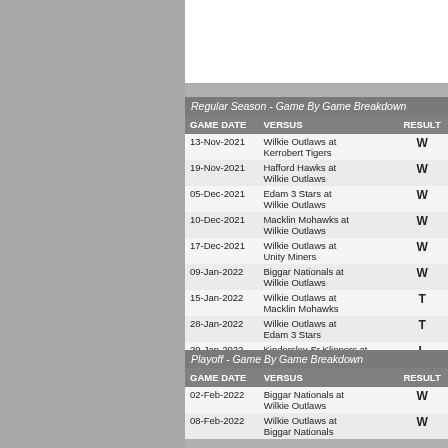| GAME DATE | VERSUS | RESULT |
| --- | --- | --- |
| 13-Nov-2021 | Wilkie Outlaws at Kerrobert Tigers | W |
| 19-Nov-2021 | Hafford Hawks at Wilkie Outlaws | W |
| 05-Dec-2021 | Edam 3 Stars at Wilkie Outlaws | W |
| 10-Dec-2021 | Macklin Mohawks at Wilkie Outlaws | W |
| 17-Dec-2021 | Wilkie Outlaws at Unity Miners | W |
| 09-Jan-2022 | Biggar Nationals at Wilkie Outlaws | W |
| 15-Jan-2022 | Wilkie Outlaws at Macklin Mohawks | T |
| 28-Jan-2022 | Wilkie Outlaws at Edam 3 Stars | T |
| 29-Jan-2022 | Kindersley Sr Klippers at Wilkie Outlaws | L |
| GAME DATE | VERSUS | RESULT |
| --- | --- | --- |
| 02-Feb-2022 | Biggar Nationals at Wilkie Outlaws | W |
| 08-Feb-2022 | Wilkie Outlaws at Biggar Nationals | W |